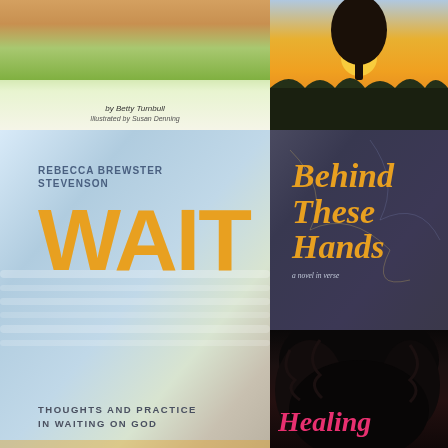[Figure (illustration): Partial children's book cover showing feet/toes in grass at top, with text 'by Betty Turnbull' and 'Illustrated by Susan Denning' at bottom]
[Figure (illustration): Book cover with sunset/golden sky and silhouette of tree, text reads 'a novel' and 'amalie jahn']
[Figure (illustration): Book cover 'WAIT: Thoughts and Practice in Waiting on God' by Rebecca Brewster Stevenson, with large orange WAIT text on blurred background]
[Figure (illustration): Book cover 'Behind These Hands: a novel in verse' by Linda Vigen Phillips, dark background with orange script title and woman covering eyes with hands]
[Figure (illustration): Partial book cover showing teal/blue background with text 'FOLLOWING' in white spaced letters]
[Figure (illustration): Partial book cover showing dark background with pink/magenta italic text 'Healing']